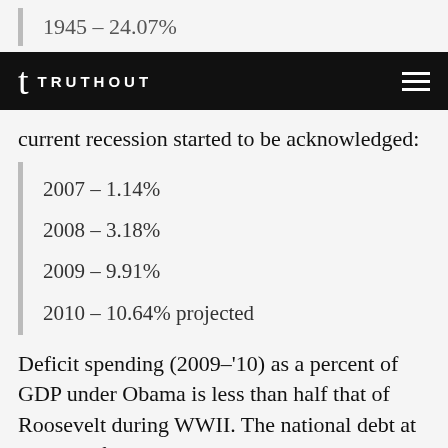1945 – 24.07%
TRUTHOUT
current recession started to be acknowledged:
2007 – 1.14%
2008 – 3.18%
2009 – 9.91%
2010 – 10.64% projected
Deficit spending (2009–'10) as a percent of GDP under Obama is less than half that of Roosevelt during WWII. The national debt at the end of